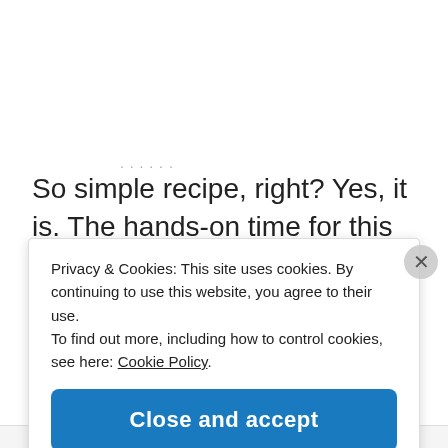So simple recipe, right? Yes, it is. The hands-on time for this recipe is minimal but it does take a lot of forethought. Like two or more days, sorry. Good things come to those who wait and sourdough bread is a very good thing.
Privacy & Cookies: This site uses cookies. By continuing to use this website, you agree to their use.
To find out more, including how to control cookies, see here: Cookie Policy